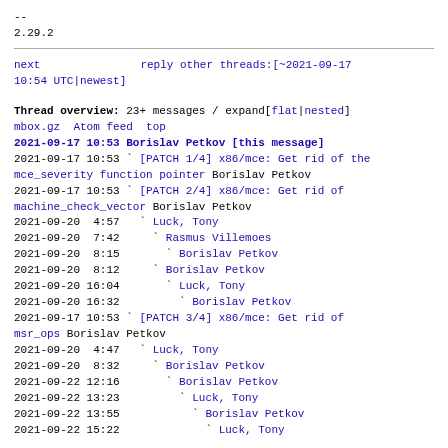--
2.29.2
next          reply  other threads:[~2021-09-17
10:54 UTC|newest]
Thread overview: 23+ messages / expand[flat|nested]
mbox.gz  Atom feed  top
2021-09-17 10:53 Borislav Petkov [this message]
2021-09-17 10:53 ` [PATCH 1/4] x86/mce: Get rid of the mce_severity function pointer Borislav Petkov
2021-09-17 10:53 ` [PATCH 2/4] x86/mce: Get rid of machine_check_vector Borislav Petkov
2021-09-20  4:57   ` Luck, Tony
2021-09-20  7:42     ` Rasmus Villemoes
2021-09-20  8:15       ` Borislav Petkov
2021-09-20  8:12     ` Borislav Petkov
2021-09-20 16:04       ` Luck, Tony
2021-09-20 16:32         ` Borislav Petkov
2021-09-17 10:53 ` [PATCH 3/4] x86/mce: Get rid of msr_ops Borislav Petkov
2021-09-20  4:47   ` Luck, Tony
2021-09-20  8:32     ` Borislav Petkov
2021-09-22 12:16       ` Borislav Petkov
2021-09-22 13:23         ` Luck, Tony
2021-09-22 13:55           ` Borislav Petkov
2021-09-22 15:22             ` Luck, Tony